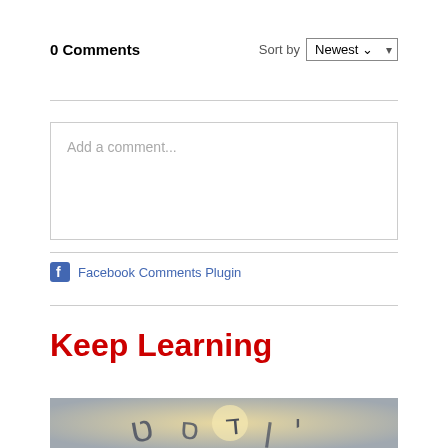0 Comments
Sort by Newest
Add a comment...
Facebook Comments Plugin
Keep Learning
[Figure (photo): Thumbnail image with Hebrew/Arabic script characters on a blurred glowing background]